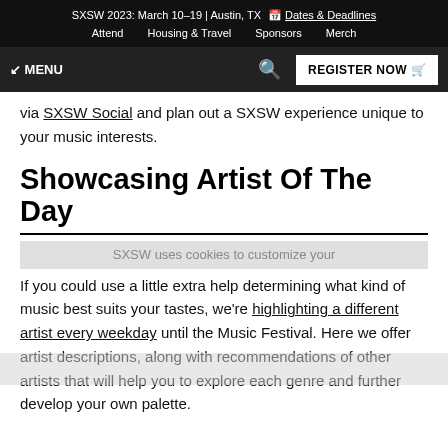SXSW 2023: March 10–19 | Austin, TX 📅 Dates & Deadlines | Attend | Housing & Travel | Sponsors | Merch
☰ MENU | 🔍 | REGISTER NOW 🛒
via SXSW Social and plan out a SXSW experience unique to your music interests.
Showcasing Artist Of The Day
SXSW uses cookies to customize your experience.
If you could use a little extra help determining what kind of music best suits your tastes, we're highlighting a different artist every weekday until the Music Festival. Here we offer artist descriptions, along with recommendations of other artists that will help you to explore each genre and further develop your own palette.